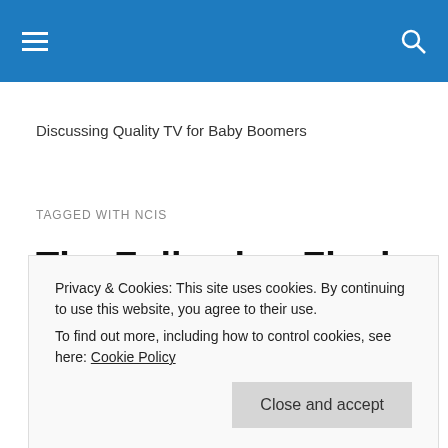Discussing Quality TV for Baby Boomers
TAGGED WITH NCIS
The Following Finale is Monday + More Series Finales
Privacy & Cookies: This site uses cookies. By continuing to use this website, you agree to their use.
To find out more, including how to control cookies, see here: Cookie Policy
Close and accept